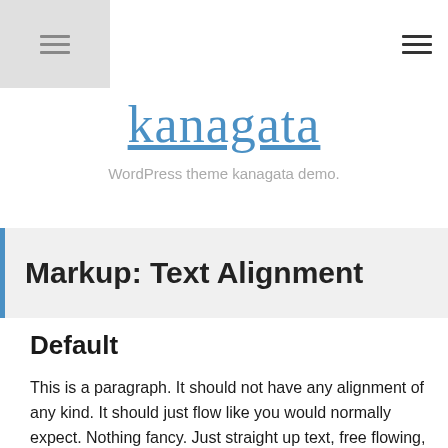kanagata — WordPress theme kanagata demo.
kanagata
WordPress theme kanagata demo.
Markup: Text Alignment
Default
This is a paragraph. It should not have any alignment of any kind. It should just flow like you would normally expect. Nothing fancy. Just straight up text, free flowing, with love. Completely neutral and not picking a side or sitting on the fence. It just is. It just freaking is. It likes where it is. It does